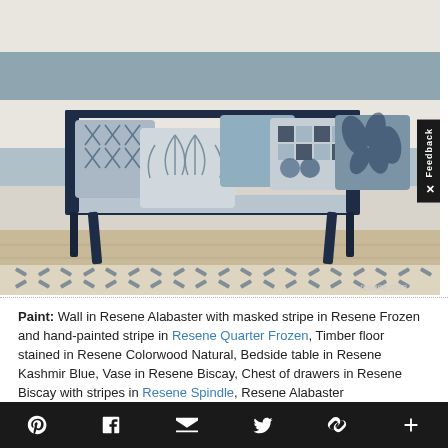[Figure (photo): A dark navy blue wooden bench/sofa with multiple patterned cushions in blue and white (botanical, geometric, checked, abstract patterns). The wall behind has horizontal stripes in white/cream and muted blue-grey. The floor is light timber with a patterned rug featuring navy herringbone/chevron motifs. Watermark reads resene.com.]
Paint: Wall in Resene Alabaster with masked stripe in Resene Frozen and hand-painted stripe in Resene Quarter Frozen, Timber floor stained in Resene Colorwood Natural, Bedside table in Resene Kashmir Blue, Vase in Resene Biscay, Chest of drawers in Resene Biscay with stripes in Resene Spindle, Resene Alabaster
Pinterest | Facebook | Email | Twitter | Share | Plus